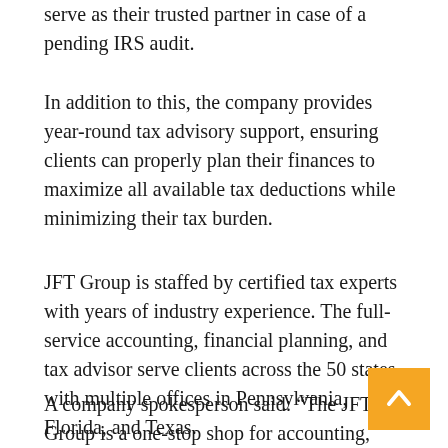serve as their trusted partner in case of a pending IRS audit.
In addition to this, the company provides year-round tax advisory support, ensuring clients can properly plan their finances to maximize all available tax deductions while minimizing their tax burden.
JFT Group is staffed by certified tax experts with years of industry experience. The full-service accounting, financial planning, and tax advisor serve clients across the 50 states with multiple offices in Pennsylvania, Florida, and Texas.
A company spokesperson said: “The JFT Group is a one-stop shop for accounting, finance, and tax services dedicated to providing the highest quality of care for the best price possible to business